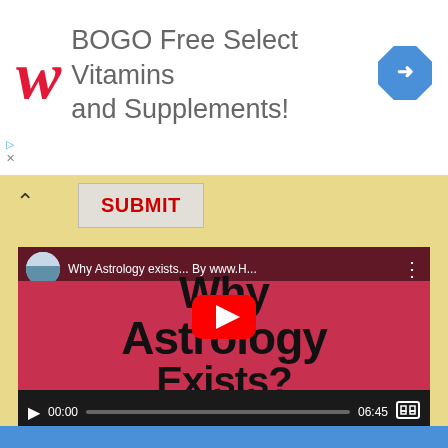[Figure (advertisement): Walgreens advertisement banner: 'BOGO Free Select Vitamins and Supplements!' with Walgreens W logo and navigation icon]
[Figure (screenshot): YouTube video player showing 'Why Astrology exists... By www.H...' video with play button overlay, thumbnail showing text 'Why Astrology Exists?' on pink/red background. Controls show 00:00 / 06:45]
[Figure (screenshot): Blue strip at the bottom of the page, partial view of another content section]